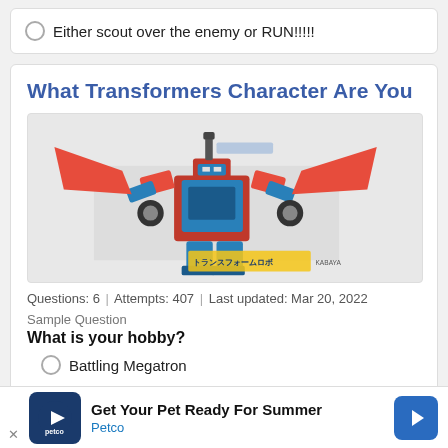Either scout over the enemy or RUN!!!!!
What Transformers Character Are You
[Figure (photo): Image of a Transformers robot toy/figure, colorful with red, blue, and white parts, with Japanese text logo at bottom]
Questions: 6  |  Attempts: 407  |  Last updated: Mar 20, 2022
Sample Question
What is your hobby?
Battling Megatron
Battling Optimus Prime
Get Your Pet Ready For Summer
Petco